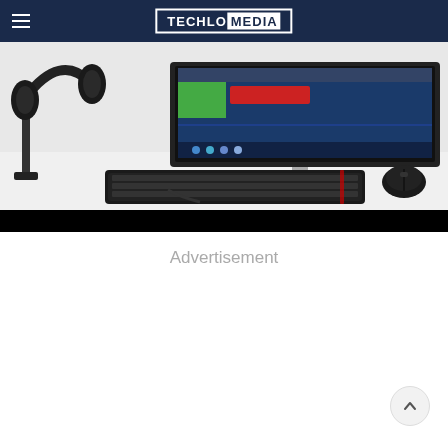TECHLO MEDIA
[Figure (photo): Desktop computer setup with monitor displaying a webpage, headphones on a stand to the left, keyboard and mouse in front, white background]
Advertisement